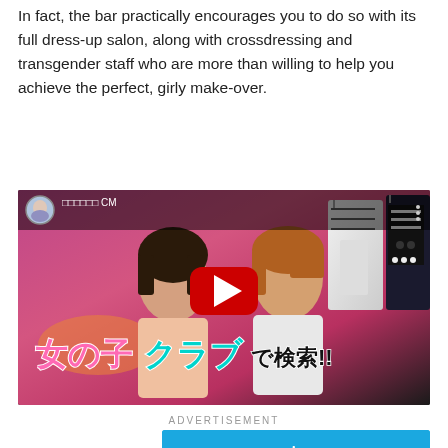In fact, the bar practically encourages you to do so with its full dress-up salon, along with crossdressing and transgender staff who are more than willing to help you achieve the perfect, girly make-over.
[Figure (screenshot): YouTube video thumbnail showing two women in cosplay/feminine clothing in front of colorful dresses, with Japanese text overlay reading 女の子クラブで検索!! and a YouTube play button in the center. A small avatar and text appear in the top bar.]
ADVERTISEMENT
[Figure (screenshot): Amazon Prime advertisement banner with blue background, showing the word 'prime' in white italic text with the Amazon smile logo below.]